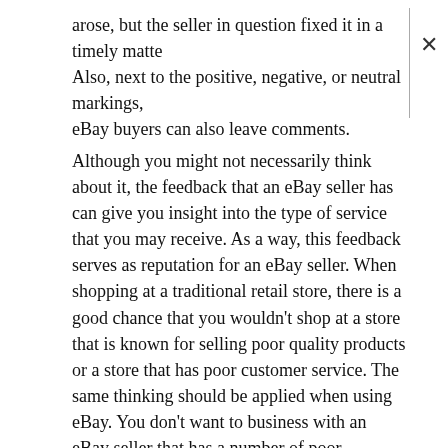arose, but the seller in question fixed it in a timely matter. Also, next to the positive, negative, or neutral markings, eBay buyers can also leave comments.
Although you might not necessarily think about it, the feedback that an eBay seller has can give you insight into the type of service that you may receive. As a way, this feedback serves as reputation for an eBay seller. When shopping at a traditional retail store, there is a good chance that you wouldn't shop at a store that is known for selling poor quality products or a store that has poor customer service. The same thinking should be applied when using eBay. You don't want to business with an eBay seller that has a number of poor feedback ratings, as it is a sign of what may come.